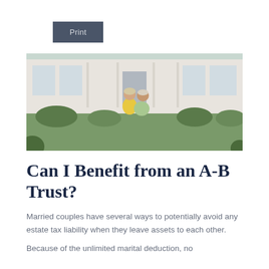Print
[Figure (photo): An older married couple sitting together on the lawn in front of a large white house, smiling at each other. The woman wears a yellow top and white skirt; the man wears a light green shirt.]
Can I Benefit from an A-B Trust?
Married couples have several ways to potentially avoid any estate tax liability when they leave assets to each other.
Because of the unlimited marital deduction, no